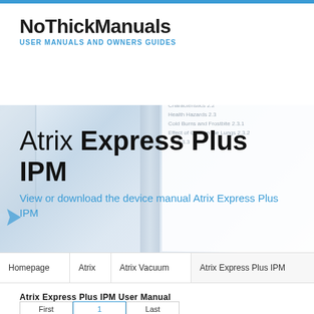NoThickManuals — USER MANUALS AND OWNERS GUIDES
Atrix Express Plus IPM
View or download the device manual Atrix Express Plus IPM
| Homepage | Atrix | Atrix Vacuum | Atrix Express Plus IPM |
| --- | --- | --- | --- |
Atrix Express Plus IPM User Manual
First  1  Last